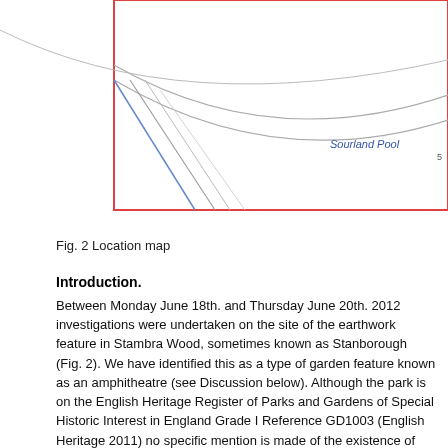[Figure (map): Location map excerpt showing Sourland Pool label, red border box outline, blue and grey diagonal lines on left side, and curved grey lines representing terrain or paths across the map area.]
Fig. 2 Location map
Introduction.
Between Monday June 18th. and Thursday June 20th. 2012 investigations were undertaken on the site of the earthwork feature in Stambra Wood, sometimes known as Stanborough (Fig. 2). We have identified this as a type of garden feature known as an amphitheatre (see Discussion below). Although the park is on the English Heritage Register of Parks and Gardens of Special Historic Interest in England Grade I Reference GD1003 (English Heritage 2011) no specific mention is made of the existence of the amphitheatre nor does it appear on the Warwickshire HER. Work this season was undertaken by a team of three local volunteers under the direction of Stephen Wass.